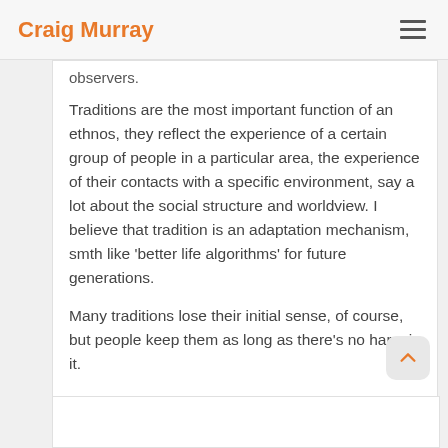Craig Murray
observers.
Traditions are the most important function of an ethnos, they reflect the experience of a certain group of people in a particular area, the experience of their contacts with a specific environment, say a lot about the social structure and worldview. I believe that tradition is an adaptation mechanism, smth like 'better life algorithms' for future generations.
Many traditions lose their initial sense, of course, but people keep them as long as there's no harm in it.